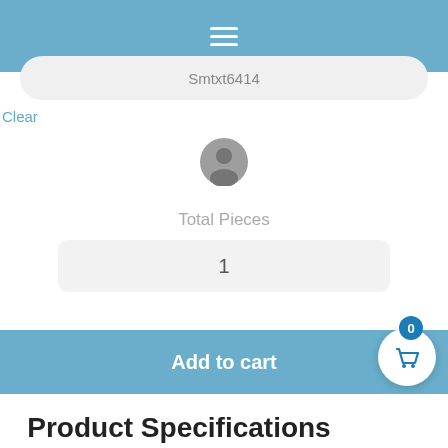[Figure (screenshot): Blue navigation top bar with white hamburger menu icon]
Smtxt6414
Clear
[Figure (illustration): Gray circular avatar/user profile icon]
Total Pieces
1
Add to cart
0
[Figure (illustration): White circular floating action button with blue shopping basket icon and badge showing 0]
Product Specifications